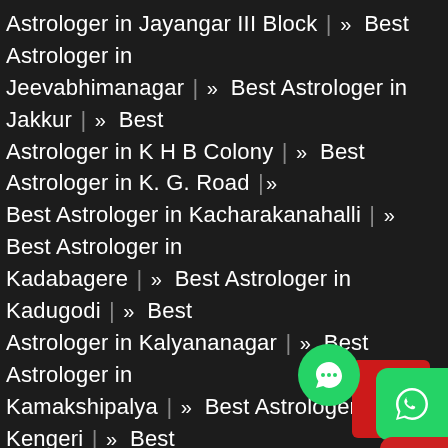Astrologer in Jayangar III Block | » Best Astrologer in Jeevabhimanagar | » Best Astrologer in Jakkur | » Best Astrologer in K H B Colony | » Best Astrologer in K. G. Road | » Best Astrologer in Kacharakanahalli | » Best Astrologer in Kadabagere | » Best Astrologer in Kadugodi | » Best Astrologer in Kalyananagar | » Best Astrologer in Kamakshipalya | » Best Astrologer in Kengeri | » Best Astrologer in Kothnur | » Best Astrologer in Koramangala | » Best Astrologer in Krishnarajapuram | » Best Astrologer in Kugur | » Best Astrologer in Kumaraswamy Layout | » Best Astrologer in Kundalahalli | » Best Astrologer in Laggere | » Best Astrologer in Lingarajapuram | » Best Astrologer in Madiwala | » Best Astrologer in Magadi Road | » Best Astrologer in Mahadevapura | » Best Astrologer in Mahalakshmipuram Layout | » Best Astrologer in Ma Gandhi Road | » Best Astrologer in Malleshwaram | » Best
[Figure (other): WhatsApp contact button (green rounded rectangle with WhatsApp icon)]
[Figure (other): Phone call button (red rounded rectangle with phone icon)]
[Figure (other): Chat bubble button (green circle with chat icon)]
[Figure (other): Red square background button]